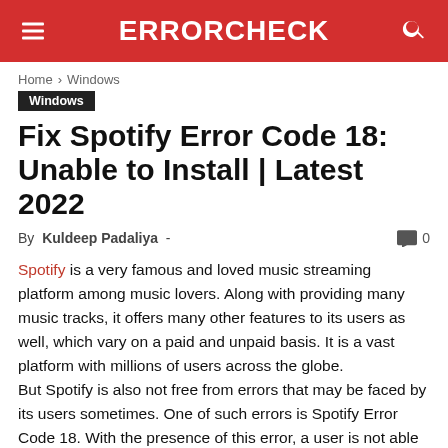ERRORCHECK
Home › Windows
Windows
Fix Spotify Error Code 18: Unable to Install | Latest 2022
By Kuldeep Padaliya - 0
Spotify is a very famous and loved music streaming platform among music lovers. Along with providing many music tracks, it offers many other features to its users as well, which vary on a paid and unpaid basis. It is a vast platform with millions of users across the globe. But Spotify is also not free from errors that may be faced by its users sometimes. One of such errors is Spotify Error Code 18. With the presence of this error, a user is not able to install Spotify on his/her system. There can be too many reasons for this error which have been discussed below, along with the solutions that